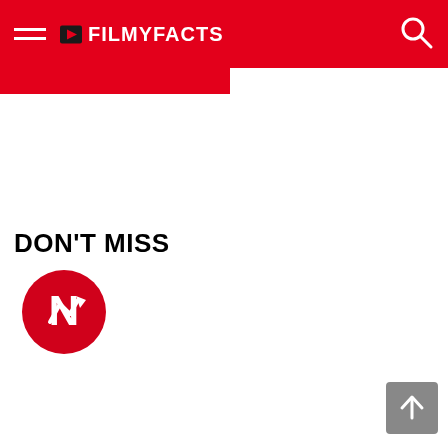FILMYFACTS
DON'T MISS
[Figure (logo): Trending/Buzzfeed-style circular red icon with white upward-right arrow graphic]
[Figure (illustration): Back to top arrow button, grey square with white upward arrow]